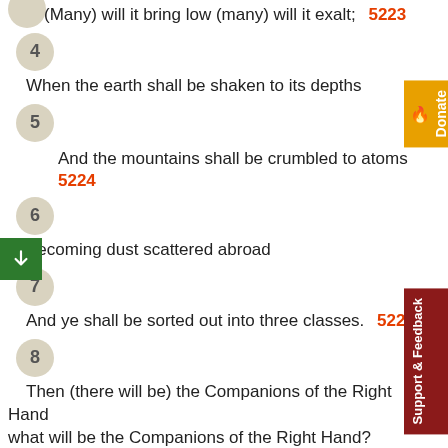(Many) will it bring low (many) will it exalt; 5223
4
When the earth shall be shaken to its depths
5
And the mountains shall be crumbled to atoms 5224
6
Becoming dust scattered abroad
7
And ye shall be sorted out into three classes. 5225
8
Then (there will be) the Companions of the Right Hand what will be the Companions of the Right Hand?